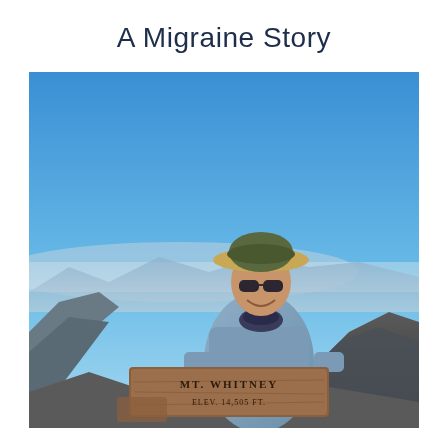A Migraine Story
[Figure (photo): A man standing at the summit of Mt. Whitney, holding a wooden sign reading 'MT. WHITNEY'. He is wearing a wide-brimmed hat, sunglasses, a blue long-sleeve shirt, and a dark bandana around his neck. Clear blue sky in the background with mountain ridges and a distant valley visible.]